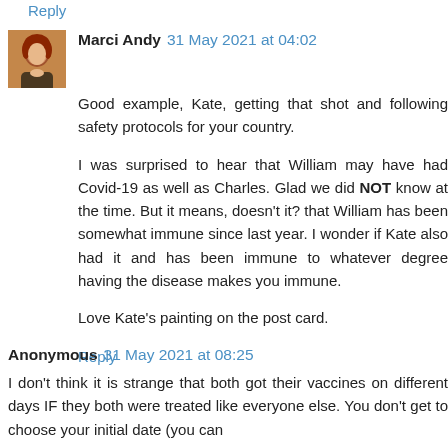Reply
Marci Andy  31 May 2021 at 04:02
Good example, Kate, getting that shot and following safety protocols for your country.

I was surprised to hear that William may have had Covid-19 as well as Charles. Glad we did NOT know at the time. But it means, doesn't it? that William has been somewhat immune since last year. I wonder if Kate also had it and has been immune to whatever degree having the disease makes you immune.

Love Kate's painting on the post card.
Reply
Anonymous  31 May 2021 at 08:25
I don't think it is strange that both got their vaccines on different days IF they both were treated like everyone else. You don't get to choose your initial date (you can